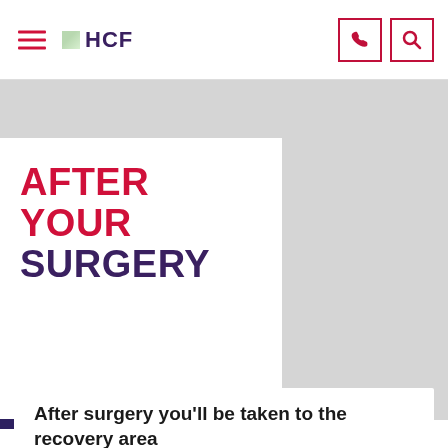HCF
AFTER YOUR SURGERY
After surgery you'll be taken to the recovery area.